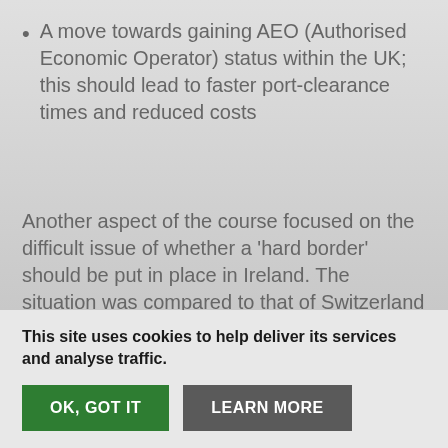A move towards gaining AEO (Authorised Economic Operator) status within the UK; this should lead to faster port-clearance times and reduced costs
Another aspect of the course focused on the difficult issue of whether a 'hard border' should be put in place in Ireland. The situation was compared to that of Switzerland which, though outside of the customs union, without a hard border and with trade deals in place with China, sells over five times as much per
This site uses cookies to help deliver its services and analyse traffic.